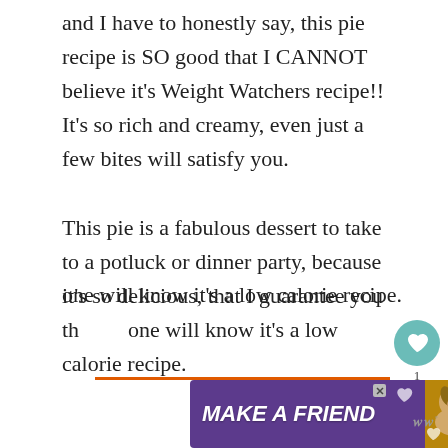and I have to honestly say, this pie recipe is SO good that I CANNOT believe it's Weight Watchers recipe!! It's so rich and creamy, even just a few bites will satisfy you.

This pie is a fabulous dessert to take to a potluck or dinner party, because it's so delicious, that I guarantee you that no one will know it's a low calorie recipe.
[Figure (screenshot): Social sharing widget with teal heart button showing count of 1, and a share button below it]
[Figure (screenshot): What's Next widget showing a food thumbnail and text 'Low Calorie Candied Ya...']
[Figure (screenshot): Purple advertisement banner reading MAKE A FRIEND with a dog image and heart icons]